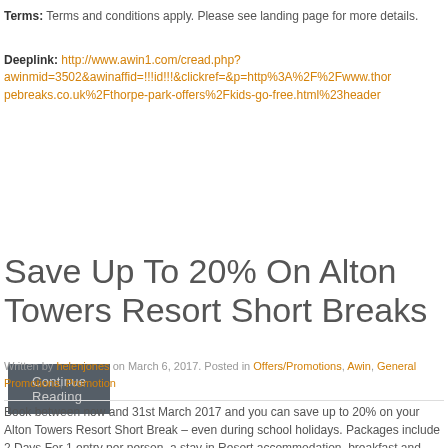Terms: Terms and conditions apply. Please see landing page for more details.
Deeplink: http://www.awin1.com/cread.php?awinmid=3502&awinaffid=!!!id!!!&clickref=&p=http%3A%2F%2Fwww.thorpebreaks.co.uk%2Fthorpe-park-offers%2Fkids-go-free.html%23header
Continue Reading
Save Up To 20% On Alton Towers Resort Short Breaks
Written by helenjones on March 6, 2017. Posted in Offers/Promotions, Awin, General Promotions, Promotion
Book between now and 31st March 2017 and you can save up to 20% on your Alton Towers Resort Short Break – even during school holidays. Packages include 2 Days For 1 entry per person, a stay in Resort accommodation, breakfast and FREE parking.